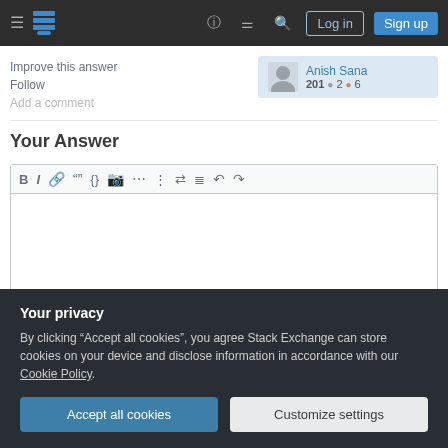Stack Exchange navigation bar with Log in and Sign up buttons
Improve this answer
Follow
Add a comment
Anish Sana 201 ● 2 ● 6
Your Answer
[Figure (screenshot): Text editor toolbar with bold, italic, link, blockquote, code, image, ordered list, unordered list, alignment, undo, redo icons]
Your privacy
By clicking "Accept all cookies", you agree Stack Exchange can store cookies on your device and disclose information in accordance with our Cookie Policy.
Accept all cookies   Customize settings